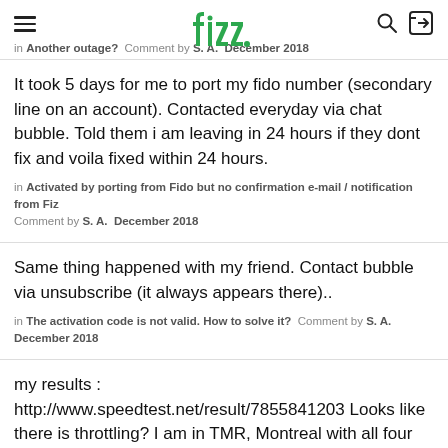fizz
in Another outage? Comment by S. A. December 2018
It took 5 days for me to port my fido number (secondary line on an account). Contacted everyday via chat bubble. Told them i am leaving in 24 hours if they dont fix and voila fixed within 24 hours.
in Activated by porting from Fido but no confirmation e-mail / notification from Fiz Comment by S. A. December 2018
Same thing happened with my friend. Contact bubble via unsubscribe (it always appears there)..
in The activation code is not valid. How to solve it? Comment by S. A. December 2018
my results : http://www.speedtest.net/result/7855841203 Looks like there is throttling? I am in TMR, Montreal with all four bars on an iphone and LTE.